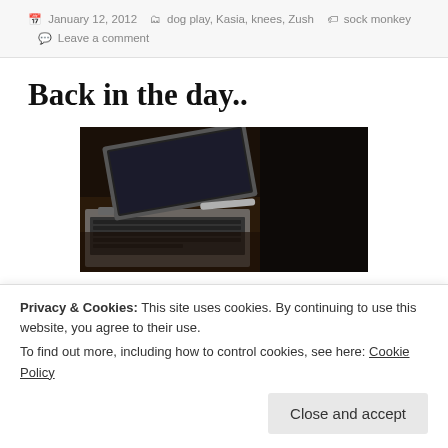January 12, 2012  dog play, Kasia, knees, Zush  sock monkey  Leave a comment
Back in the day..
[Figure (photo): A laptop partially open on a dark wooden desk, dark moody photo showing keyboard and screen hinge area]
Privacy & Cookies: This site uses cookies. By continuing to use this website, you agree to their use.
To find out more, including how to control cookies, see here: Cookie Policy
Close and accept